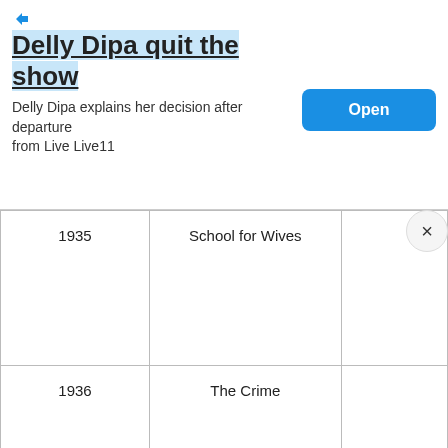[Figure (other): Advertisement banner: title 'Delly Dipa quit the show' with subtitle 'Delly Dipa explains her decision after departure from Live Live11' and an 'Open' button]
| 1935 | School for Wives |  |
| 1936 | The Crime |  |
| March 14–
May 2, 1936 | Triple-A Plowed Under | Leads in vaudevil sketche |
| July 24–
October 20, 1936 | Injunction Granted | Clown |